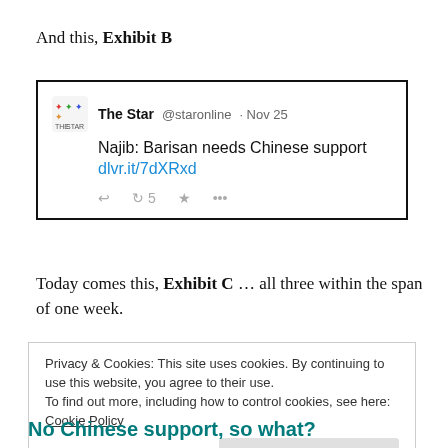And this, Exhibit B
[Figure (screenshot): Screenshot of a tweet from The Star (@staronline) dated Nov 25 reading: 'Najib: Barisan needs Chinese support dlvr.it/7dXRxd' with retweet count of 5.]
Today comes this, Exhibit C … all three within the span of one week.
[Figure (screenshot): Screenshot of a cookie consent banner: 'Privacy & Cookies: This site uses cookies. By continuing to use this website, you agree to their use. To find out more, including how to control cookies, see here: Cookie Policy' with a 'Close and accept' button.]
No Chinese support, so what?